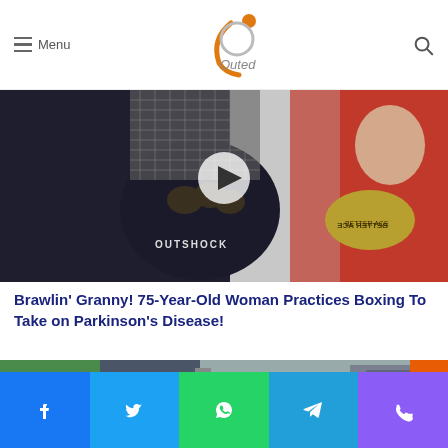Menu | Outed (logo)
[Figure (photo): Boxing training video thumbnail: close-up of boxing gloves, a coach holding pads (OUTSHOCK brand), and a 75-year-old woman in a red hoodie wearing boxing gloves (BETTER ACE brand), with a circular play button overlay in the center.]
Brawlin' Granny! 75-Year-Old Woman Practices Boxing To Take on Parkinson's Disease!
[Figure (photo): Interior of a car, showing the back seat area with door panel, seatbelt, and a cup holder. CLOSE button overlay visible. Orange scroll-to-top arrow button at right.]
Facebook | Twitter | WhatsApp | Telegram | Phone